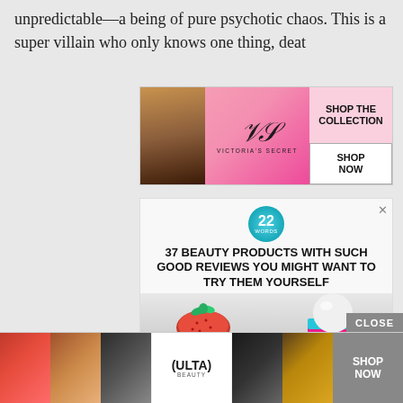unpredictable—a being of pure psychotic chaos. This is a super villain who only knows one thing, deat[h...]
[Figure (photo): Victoria's Secret advertisement banner with a woman's face, VS logo, 'SHOP THE COLLECTION' text, and 'SHOP NOW' button]
[Figure (infographic): 22 Words advertisement: '37 BEAUTY PRODUCTS WITH SUCH GOOD REVIEWS YOU MIGHT WANT TO TRY THEM YOURSELF' with image of EOS strawberry lip balm]
He w[as...] ad to re[...] s
[Figure (photo): Ulta Beauty advertisement bar at bottom with CLOSE button, cosmetics photos (lips, brush, eye), Ulta logo, dark model photo, and SHOP NOW button]